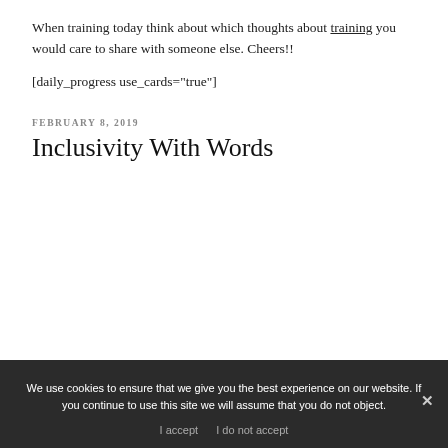When training today think about which thoughts about training you would care to share with someone else. Cheers!!
[daily_progress use_cards="true"]
FEBRUARY 8, 2019
Inclusivity With Words
We use cookies to ensure that we give you the best experience on our website. If you continue to use this site we will assume that you do not object.
I accept   I do not accept